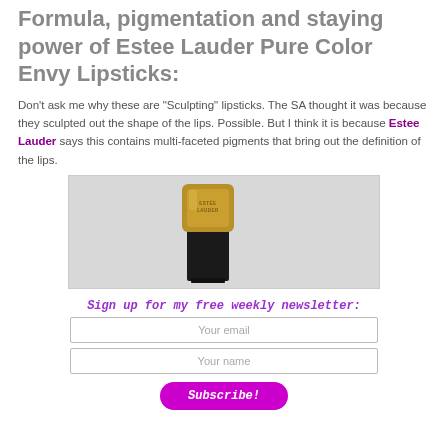Formula, pigmentation and staying power of Estee Lauder Pure Color Envy Lipsticks:
Don't ask me why these are "Sculpting" lipsticks. The SA thought it was because they sculpted out the shape of the lips. Possible. But I think it is because Estee Lauder says this contains multi-faceted pigments that bring out the definition of the lips.
[Figure (photo): Photo of an Estee Lauder Pure Color Envy lipstick bullet with gold casing and engraved ESTEE LAUDER text, shown close-up against a light gray background.]
Sign up for my free weekly newsletter:
Your email
Your name
Subscribe!